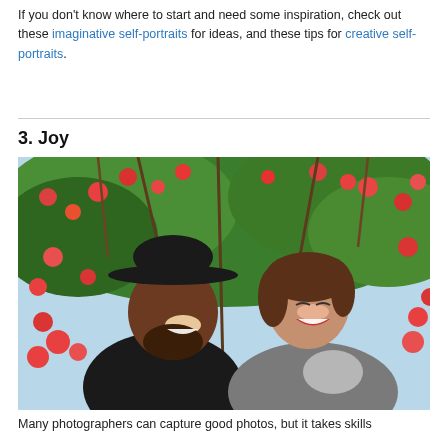If you don't know where to start and need some inspiration, check out these imaginative self-portraits for ideas, and these tips for creative self-portraits.
3. Joy
[Figure (photo): A joyful couple laughing outdoors under a tree with red/orange flowers. The man on the left wears a dark wide-brim hat and black shirt; the woman on the right has short brown hair, red lips, and wears a grey top. Both are smiling and laughing upward.]
Many photographers can capture good photos, but it takes skills